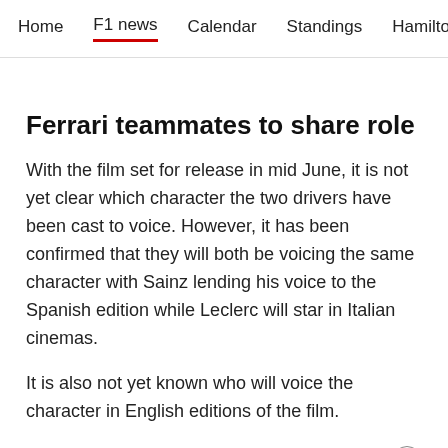Home  F1 news  Calendar  Standings  Hamilton
Ferrari teammates to share role
With the film set for release in mid June, it is not yet clear which character the two drivers have been cast to voice. However, it has been confirmed that they will both be voicing the same character with Sainz lending his voice to the Spanish edition while Leclerc will star in Italian cinemas.
It is also not yet known who will voice the character in English editions of the film.
Speaking after completing his cameo, Leclerc said: "It was a completely different experience for me. Going into space like Buzz is definitely one of my dreams. It is a goal that maybe